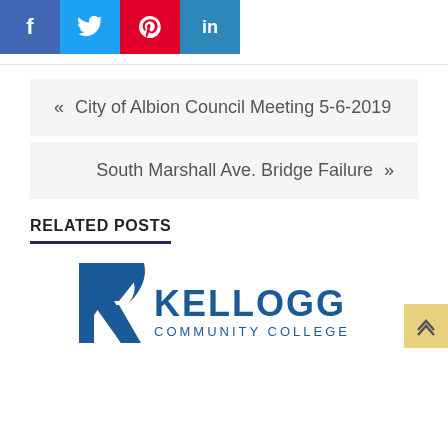[Figure (screenshot): Social media share buttons: Facebook (blue), Twitter (light blue), Pinterest (red), LinkedIn (blue)]
« City of Albion Council Meeting 5-6-2019
South Marshall Ave. Bridge Failure »
RELATED POSTS
[Figure (logo): Kellogg Community College logo with stylized K icon and text KELLOGG COMMUNITY COLLEGE in blue]